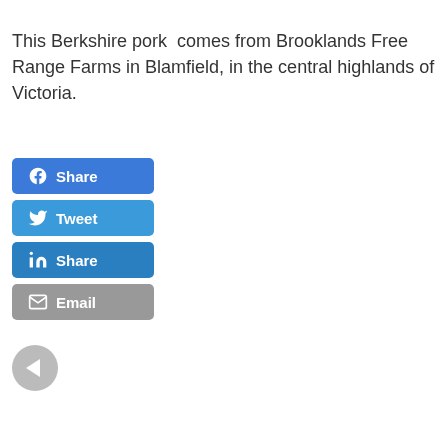This Berkshire pork comes from Brooklands Free Range Farms in Blamfield, in the central highlands of Victoria.
[Figure (screenshot): Social sharing buttons: Facebook Share (blue), Twitter Tweet (blue), LinkedIn Share (blue), Email (grey), and a back navigation circle button (grey with left arrow)]